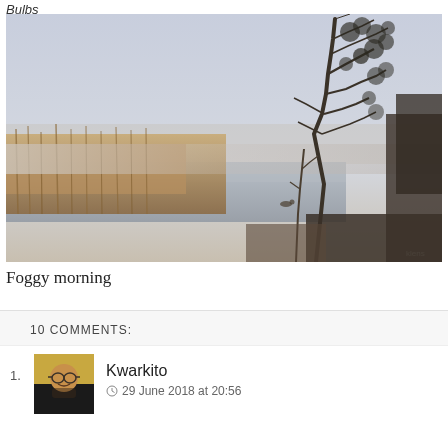Bulbs
[Figure (photo): Foggy morning landscape with a misty river or lake, brown reeds in the foreground, bare trees leaning right in the background, grey-blue foggy sky.]
Foggy morning
10 COMMENTS:
Kwarkito
29 June 2018 at 20:56